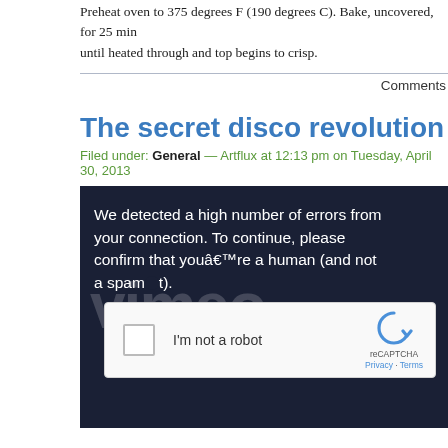Preheat oven to 375 degrees F (190 degrees C). Bake, uncovered, for 25 min until heated through and top begins to crisp.
Comments
The secret disco revolution
Filed under: General — Artflux at 12:13 pm on Tuesday, April 30, 2013
[Figure (screenshot): reCAPTCHA widget on dark navy background with Vimeo watermark text. Message reads: We detected a high number of errors from your connection. To continue, please confirm that youâ€™re a human (and not a spambot). Contains a reCAPTCHA checkbox labeled 'I'm not a robot' with reCAPTCHA logo, Privacy and Terms links.]